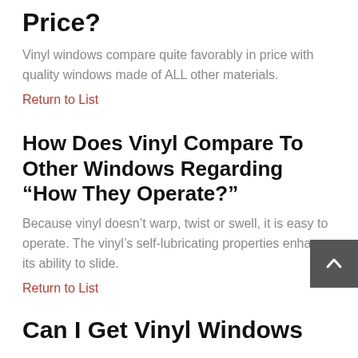Price?
Vinyl windows compare quite favorably in price with quality windows made of ALL other materials.
Return to List
How Does Vinyl Compare To Other Windows Regarding “How They Operate?”
Because vinyl doesn’t warp, twist or swell, it is easy to operate. The vinyl’s self-lubricating properties enhance its ability to slide.
Return to List
Can I Get Vinyl Windows